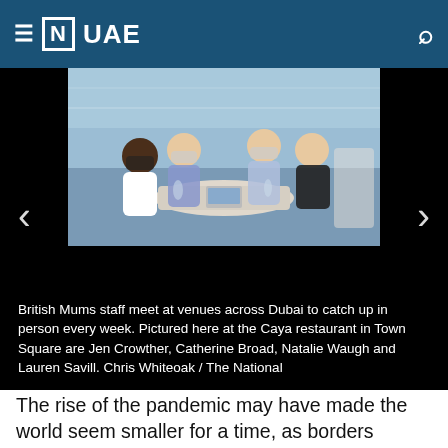≡ [N] UAE
[Figure (photo): Four women seated around a table at a restaurant, some wearing face masks, with drinks and a laptop on the table. Outdoor or glass-front venue setting.]
British Mums staff meet at venues across Dubai to catch up in person every week. Pictured here at the Caya restaurant in Town Square are Jen Crowther, Catherine Broad, Natalie Waugh and Lauren Savill. Chris Whiteoak / The National
The rise of the pandemic may have made the world seem smaller for a time, as borders closed and air travel was grounded. Yet it led